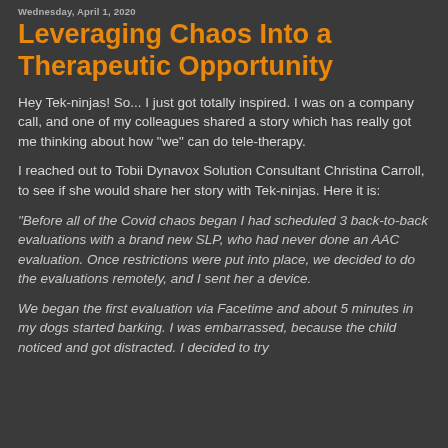Wednesday, April 1, 2020
Leveraging Chaos Into a Therapeutic Opportunity
Hey Tek-ninjas! So... I just got totally inspired. I was on a company call, and one of my colleagues shared a story which has really got me thinking about how "we" can do tele-therapy.
I reached out to Tobii Dynavox Solution Consultant Christina Carroll, to see if she would share her story with Tek-ninjas. Here it is:
"Before all of the Covid chaos began I had scheduled 3 back-to-back evaluations with a brand new SLP, who had never done an AAC evaluation. Once restrictions were put into place, we decided to do the evaluations remotely, and I sent her a device.
We began the first evaluation via Facetime and about 5 minutes in my dogs started barking. I was embarrassed, because the child noticed and got distracted. I decided to try